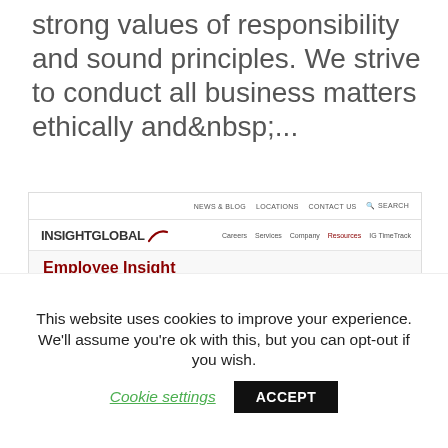strong values of responsibility and sound principles. We strive to conduct all business matters ethically and&nbsp;...
[Figure (screenshot): Screenshot of the Insight Global website showing the Employee Insight page, with navigation bar, logo, and body text about company values and an anonymous reporting system.]
This website uses cookies to improve your experience. We'll assume you're ok with this, but you can opt-out if you wish. Cookie settings ACCEPT